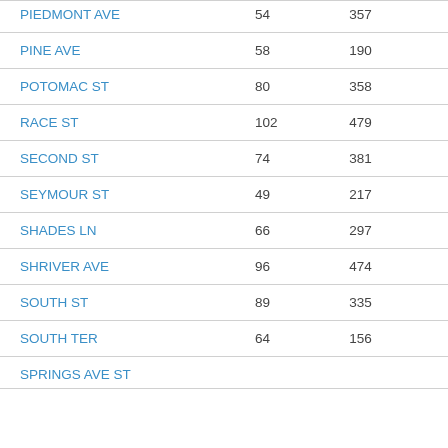| PIEDMONT AVE | 54 | 357 |
| PINE AVE | 58 | 190 |
| POTOMAC ST | 80 | 358 |
| RACE ST | 102 | 479 |
| SECOND ST | 74 | 381 |
| SEYMOUR ST | 49 | 217 |
| SHADES LN | 66 | 297 |
| SHRIVER AVE | 96 | 474 |
| SOUTH ST | 89 | 335 |
| SOUTH TER | 64 | 156 |
| SPRINGS AVE ST | ... | ... |